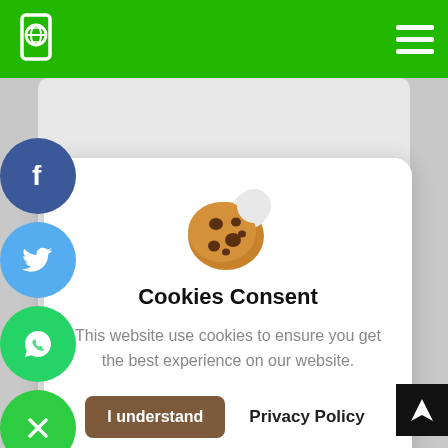[Figure (screenshot): Green navigation bar with a globe/basketball app icon on the left and a hamburger menu icon on the right]
[Figure (infographic): Social share sidebar with Facebook (blue), Twitter (light blue), WhatsApp (green), and a green close (X) button]
[Figure (illustration): Cookie emoji icon — brown cookie with bite taken out and dark chocolate chips]
Cookies Consent
This website use cookies to ensure you get the best experience on our website.
I understand
Privacy Policy